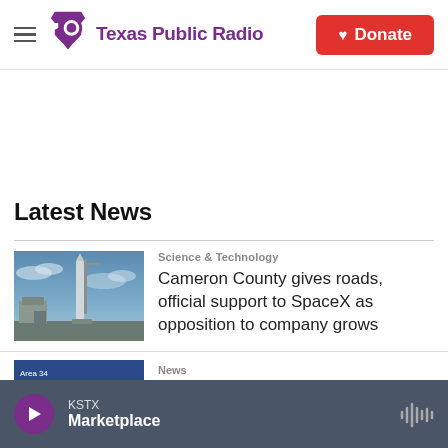Texas Public Radio — Donate
Latest News
[Figure (photo): SpaceX Starship launch tower at Boca Chica, Texas against a blue sky]
Science & Technology
Cameron County gives roads, official support to SpaceX as opposition to company grows
[Figure (photo): Partial thumbnail of a second news article, dark blue background]
News
KSTX — Marketplace (player bar)